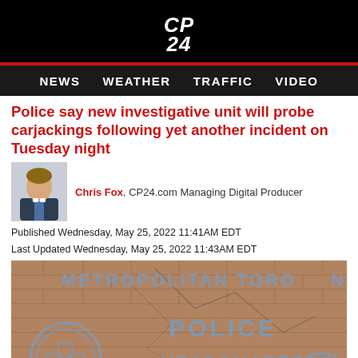CP24
NEWS  WEATHER  TRAFFIC  VIDEO
Police say new investigative unit will probe carjackings following yet another incident on Tuesday night
Chris Fox, CP24.com Managing Digital Producer
Published Wednesday, May 25, 2022 11:41AM EDT
Last Updated Wednesday, May 25, 2022 11:43AM EDT
[Figure (photo): Exterior photo of Metropolitan Toronto Police Headquarters sign on a brick wall, showing large blue letters reading METROPOLITAN TORONTO POLICE HEADQUARTERS with a police badge emblem.]